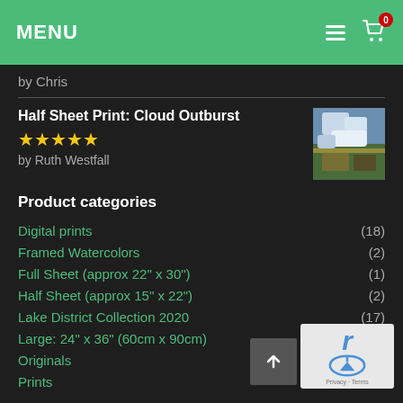MENU
by Chris
Half Sheet Print: Cloud Outburst
★★★★★
by Ruth Westfall
Product categories
Digital prints (18)
Framed Watercolors (2)
Full Sheet (approx 22" x 30") (1)
Half Sheet (approx 15" x 22") (2)
Lake District Collection 2020 (17)
Large: 24" x 36" (60cm x 90cm)
Originals
Prints (32)